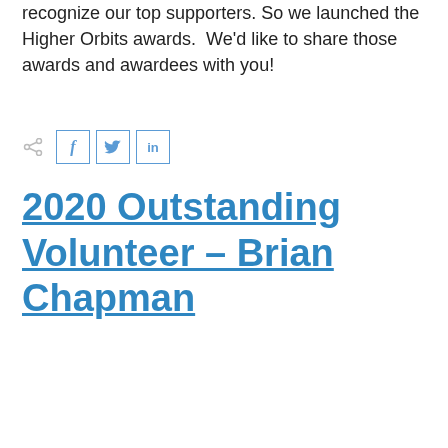recognize our top supporters. So we launched the Higher Orbits awards.  We'd like to share those awards and awardees with you!
[Figure (infographic): Social share buttons row: share icon, Facebook button (f), Twitter button (bird icon), LinkedIn button (in)]
2020 Outstanding Volunteer – Brian Chapman